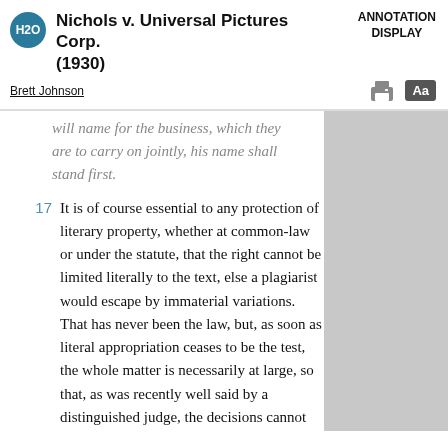Nichols v. Universal Pictures Corp. (1930)
ANNOTATION DISPLAY
Brett Johnson
will name for the business, which they are to carry on jointly, his name shall stand first.
17 It is of course essential to any protection of literary property, whether at common-law or under the statute, that the right cannot be limited literally to the text, else a plagiarist would escape by immaterial variations. That has never been the law, but, as soon as literal appropriation ceases to be the test, the whole matter is necessarily at large, so that, as was recently well said by a distinguished judge, the decisions cannot help much